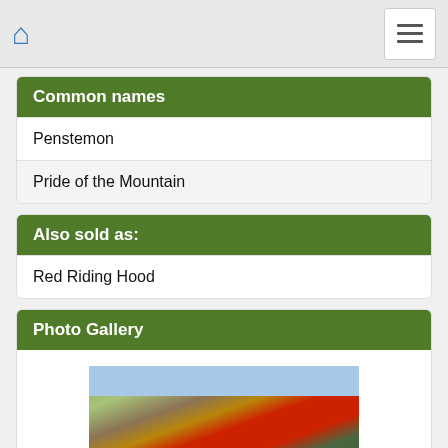Home / Menu navigation bar
Common names
Penstemon
Pride of the Mountain
Also sold as:
Red Riding Hood
Photo Gallery
[Figure (photo): Outdoor landscape photo showing red flowering plants (Penstemon) growing among dry shrubs and trees on a hillside.]